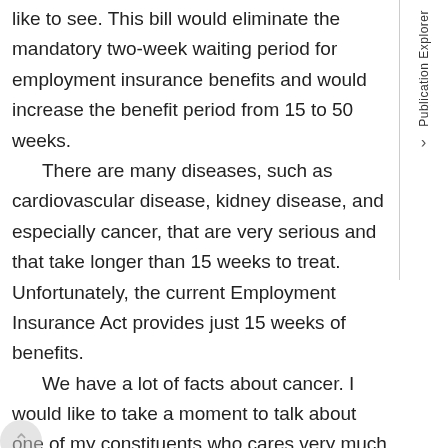like to see. This bill would eliminate the mandatory two-week waiting period for employment insurance benefits and would increase the benefit period from 15 to 50 weeks.
There are many diseases, such as cardiovascular disease, kidney disease, and especially cancer, that are very serious and that take longer than 15 weeks to treat. Unfortunately, the current Employment Insurance Act provides just 15 weeks of benefits.
We have a lot of facts about cancer. I would like to take a moment to talk about one of my constituents who cares very much about this bill. Her name is Marie-Hélène Dubé. My colleagues have probably heard about her. She is battling thyroid cancer for the third time in five years. She